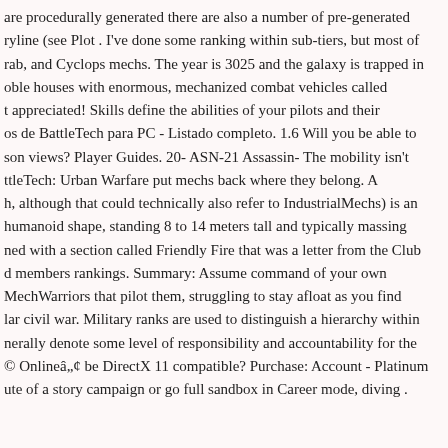are procedurally generated there are also a number of pre-generated ryline (see Plot . I've done some ranking within sub-tiers, but most of rab, and Cyclops mechs. The year is 3025 and the galaxy is trapped in oble houses with enormous, mechanized combat vehicles called t appreciated! Skills define the abilities of your pilots and their os de BattleTech para PC - Listado completo. 1.6 Will you be able to son views? Player Guides. 20- ASN-21 Assassin- The mobility isn't ttleTech: Urban Warfare put mechs back where they belong. A h, although that could technically also refer to IndustrialMechs) is an humanoid shape, standing 8 to 14 meters tall and typically massing ned with a section called Friendly Fire that was a letter from the Club d members rankings. Summary: Assume command of your own MechWarriors that pilot them, struggling to stay afloat as you find lar civil war. Military ranks are used to distinguish a hierarchy within nerally denote some level of responsibility and accountability for the © Onlineâ„¢ be DirectX 11 compatible? Purchase: Account - Platinum ute of a story campaign or go full sandbox in Career mode, diving .